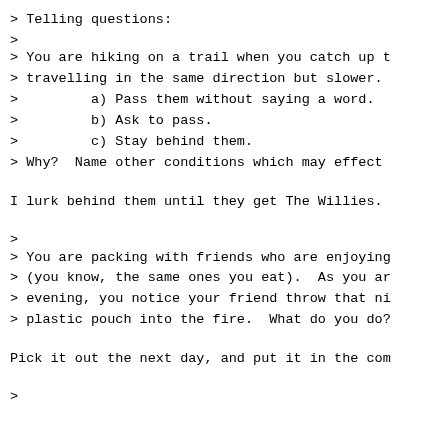> Telling questions:
>
> You are hiking on a trail when you catch up t
> travelling in the same direction but slower.
>         a) Pass them without saying a word.
>         b) Ask to pass.
>         c) Stay behind them.
> Why?  Name other conditions which may effect
I lurk behind them until they get The Willies.
>
> You are packing with friends who are enjoying
> (you know, the same ones you eat).  As you ar
> evening, you notice your friend throw that ni
> plastic pouch into the fire.  What do you do?
Pick it out the next day, and put it in the com
>